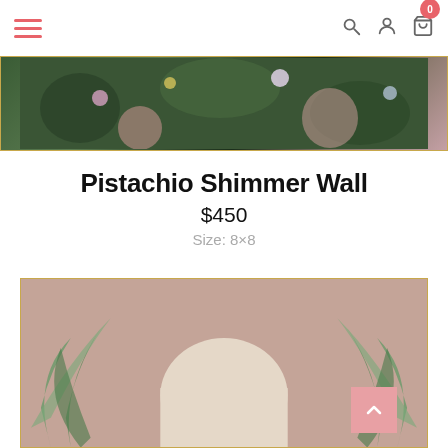Navigation bar with hamburger menu, search, account, and cart icons
[Figure (photo): Top banner photo showing people with flowers and greenery in a garden/greenhouse setting]
Pistachio Shimmer Wall
$450
Size: 8×8
[Figure (photo): Photo of a shimmer wall backdrop with tropical palm leaf pattern in dusty rose/mauve tones and a large white arch shape in the center]